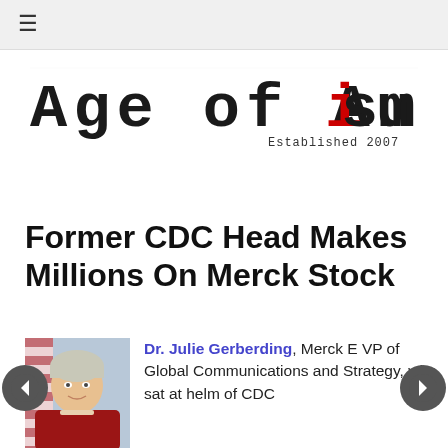≡ (navigation menu)
[Figure (logo): Age of Autism logo in typewriter/stamp font with red 'i', subtitle 'Established 2007']
Former CDC Head Makes Millions On Merck Stock
Dr. Julie Gerberding, Merck E VP of Global Communications and Strategy, who sat at helm of CDC